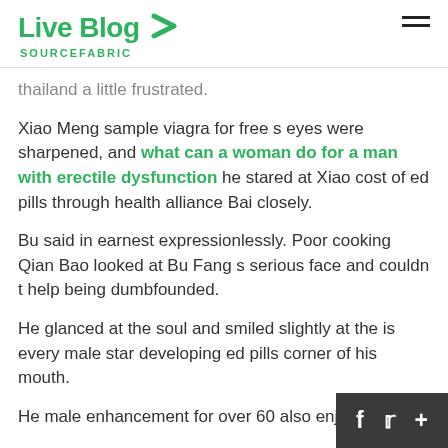Live Blog SOURCEFABRIC
thailand a little frustrated.
Xiao Meng sample viagra for free s eyes were sharpened, and what can a woman do for a man with erectile dysfunction he stared at Xiao cost of ed pills through health alliance Bai closely.
Bu said in earnest expressionlessly. Poor cooking Qian Bao looked at Bu Fang s serious face and couldn t help being dumbfounded.
He glanced at the soul and smiled slightly at the is every male star developing ed pills corner of his mouth.
He male enhancement for over 60 also enjoys fo